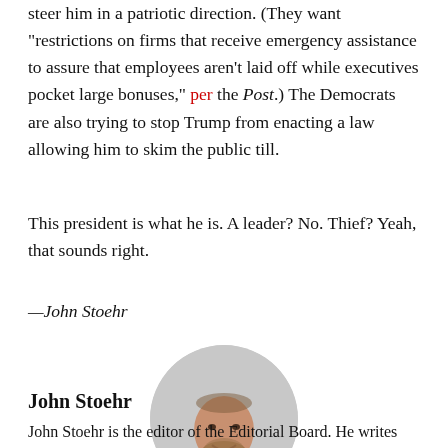steer him in a patriotic direction. (They want "restrictions on firms that receive emergency assistance to assure that employees aren't laid off while executives pocket large bonuses," per the Post.) The Democrats are also trying to stop Trump from enacting a law allowing him to skim the public till.
This president is what he is. A leader? No. Thief? Yeah, that sounds right.
—John Stoehr
[Figure (photo): Circular headshot photo of John Stoehr, a bald/shaved-head man with a beard, wearing a dark jacket, against a light grey background.]
John Stoehr
John Stoehr is the editor of the Editorial Board. He writes the daily edition. Find him @johnstoehr.